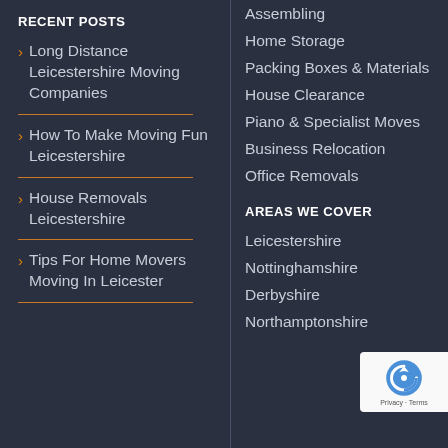RECENT POSTS
Long Distance Leicestershire Moving Companies
How To Make Moving Fun Leicestershire
House Removals Leicestershire
Tips For Home Movers Moving In Leicester
Assembling
Home Storage
Packing Boxes & Materials
House Clearance
Piano & Specialist Moves
Business Relocation
Office Removals
AREAS WE COVER
Leicestershire
Nottinghamshire
Derbyshire
Northamptonshire